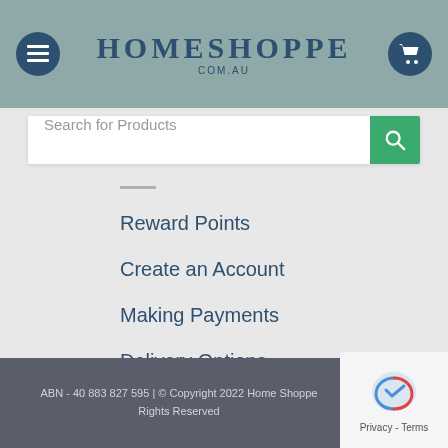[Figure (logo): HomeShoppe.com.au logo with hamburger menu icon on left and cart icon on right, teal/sage green background]
[Figure (screenshot): Search bar with placeholder text 'Search for Products' and green search button]
Reward Points
Create an Account
Making Payments
Delivery Options
Initiate a Return
ABN - 40 883 827 595 | © Copyright 2022 Home Shoppe Rights Reserved